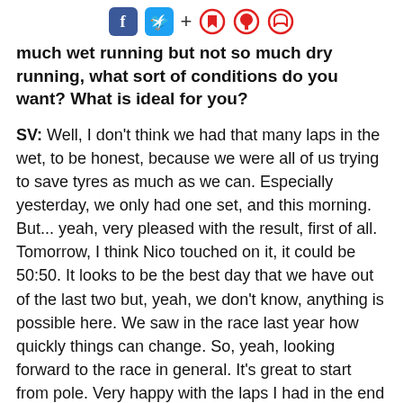f [twitter] + [bookmark] [bell] [chat]
much wet running but not so much dry running, what sort of conditions do you want? What is ideal for you?
SV: Well, I don't think we had that many laps in the wet, to be honest, because we were all of us trying to save tyres as much as we can. Especially yesterday, we only had one set, and this morning. But... yeah, very pleased with the result, first of all. Tomorrow, I think Nico touched on it, it could be 50:50. It looks to be the best day that we have out of the last two but, yeah, we don't know, anything is possible here. We saw in the race last year how quickly things can change. So, yeah, looking forward to the race in general. It's great to start from pole. Very happy with the laps I had in the end in these tricky conditions.